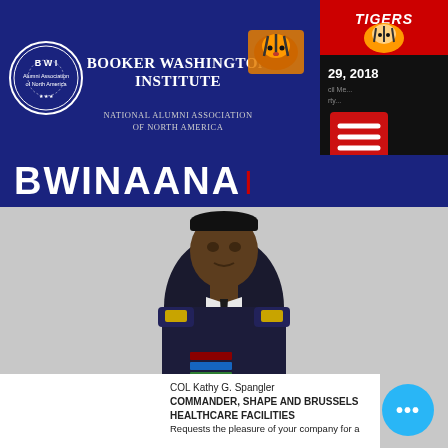[Figure (logo): BWI Alumni Association of North America circular logo with Booker Washington Institute title and tiger mascot on dark blue header background]
BWINAANA
[Figure (photo): COL Kathy G. Spangler in U.S. Army dress uniform with medals and decorations, formal military portrait against grey background]
COL Kathy G. Spangler
COMMANDER, SHAPE AND BRUSSELS HEALTHCARE FACILITIES
Requests the pleasure of your company for a